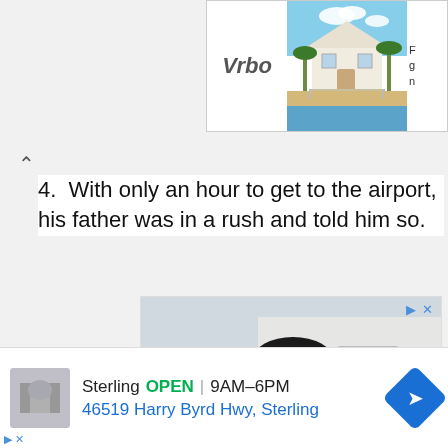[Figure (screenshot): Vrbo advertisement banner showing a beach house with palm trees]
4. With only an hour to get to the airport, his father was in a rush and told him so.
[Figure (photo): Advertisement showing a smiling Black man in a blue shirt in front of a white building]
[Figure (screenshot): Google Maps ad showing Sterling store, OPEN 9AM-6PM, 46519 Harry Byrd Hwy, Sterling with navigation button]